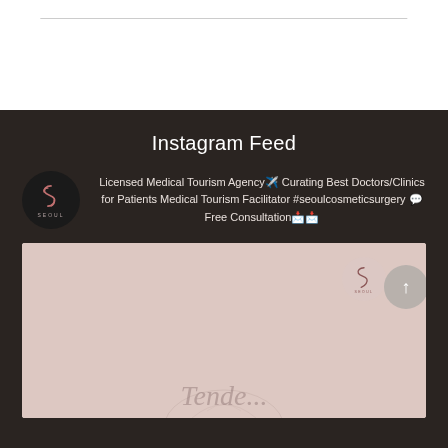Instagram Feed
[Figure (logo): Seoul Cosmetic Surgery circular logo with stylized S and C letter mark on black background with SEOUL text below]
Licensed Medical Tourism Agency✈️ Curating Best Doctors/Clinics for Patients Medical Tourism Facilitator #seoulcosmeticsurgery 💬Free Consultation📩📩
[Figure (photo): Pale pink/rose background Instagram feed post showing a partial face or beauty-related script text partially visible at bottom. Seoul logo watermark in upper right area. Scroll button with upward arrow.]